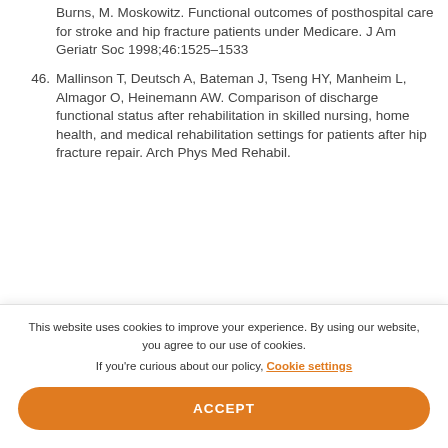Burns, M. Moskowitz. Functional outcomes of posthospital care for stroke and hip fracture patients under Medicare. J Am Geriatr Soc 1998;46:1525–1533
46. Mallinson T, Deutsch A, Bateman J, Tseng HY, Manheim L, Almagor O, Heinemann AW. Comparison of discharge functional status after rehabilitation in skilled nursing, home health, and medical rehabilitation settings for patients after hip fracture repair. Arch Phys Med Rehabil.
This website uses cookies to improve your experience. By using our website, you agree to our use of cookies. If you're curious about our policy, Cookie settings